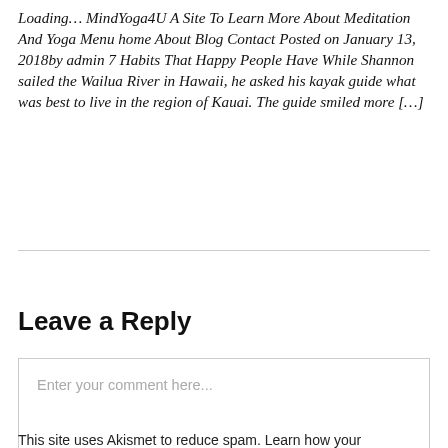Loading… MindYoga4U A Site To Learn More About Meditation And Yoga Menu home About Blog Contact Posted on January 13, 2018by admin 7 Habits That Happy People Have While Shannon sailed the Wailua River in Hawaii, he asked his kayak guide what was best to live in the region of Kauai. The guide smiled more […]
Leave a Reply
Enter your comment here...
This site uses Akismet to reduce spam. Learn how your